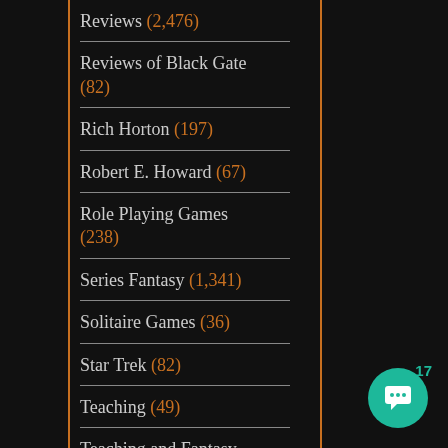Reviews (2,476)
Reviews of Black Gate (82)
Rich Horton (197)
Robert E. Howard (67)
Role Playing Games (238)
Series Fantasy (1,341)
Solitaire Games (36)
Star Trek (82)
Teaching (49)
Teaching and Fantasy Literature (51)